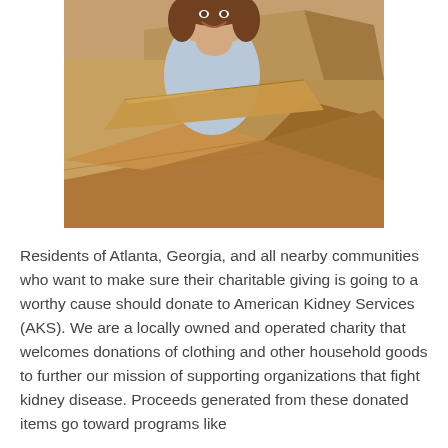[Figure (photo): A smiling young woman with brown hair, wearing a light blue top, looking over a large open cardboard box. There are multiple cardboard boxes in the background.]
Residents of Atlanta, Georgia, and all nearby communities who want to make sure their charitable giving is going to a worthy cause should donate to American Kidney Services (AKS). We are a locally owned and operated charity that welcomes donations of clothing and other household goods to further our mission of supporting organizations that fight kidney disease. Proceeds generated from these donated items go toward programs like